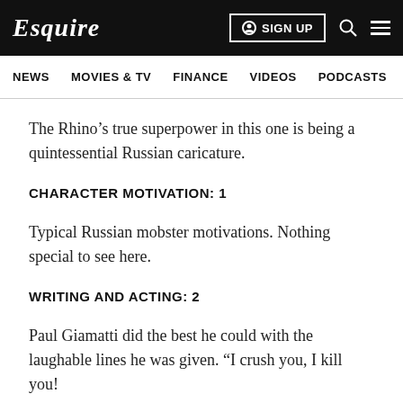Esquire
NEWS  MOVIES & TV  FINANCE  VIDEOS  PODCASTS
The Rhino’s true superpower in this one is being a quintessential Russian caricature.
CHARACTER MOTIVATION: 1
Typical Russian mobster motivations. Nothing special to see here.
WRITING AND ACTING: 2
Paul Giamatti did the best he could with the laughable lines he was given. “I crush you, I kill you!